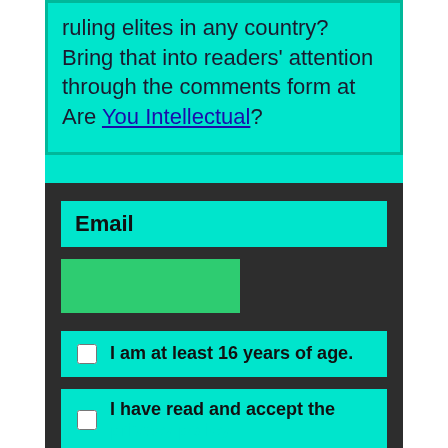ruling elites in any country? Bring that into readers' attention through the comments form at Are You Intellectual?
Email
I am at least 16 years of age.
I have read and accept the privacy policy.
This site uses cookies, some of which are required for its operation. Privacy policy.
Agree and Continue